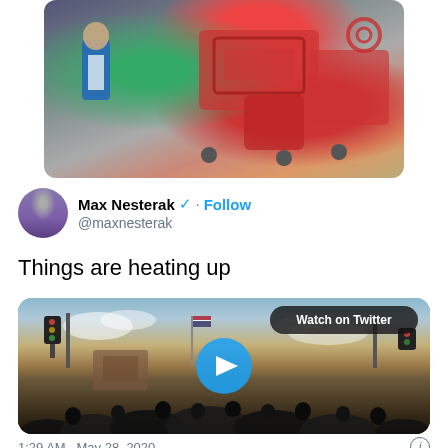[Figure (photo): Photo of person wearing blue life vest with red Target shopping carts piled up in background]
Max Nesterak ✓ @maxnesterak · Follow
Things are heating up
[Figure (photo): Video thumbnail showing crowd of people gathered on a street at dusk with an American flag, traffic lights, and buildings visible. Watch on Twitter badge and play button overlay visible.]
1:29 AM · May 28, 2020